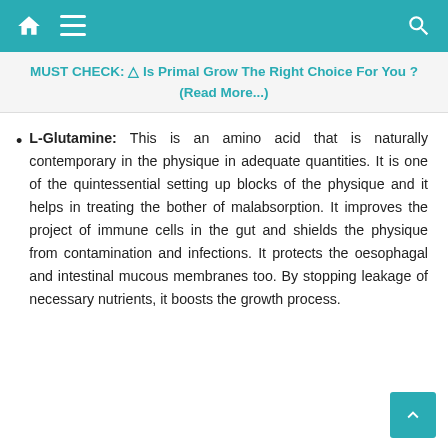Navigation bar with home, menu, and search icons
MUST CHECK: ⚠ Is Primal Grow The Right Choice For You ? (Read More...)
L-Glutamine: This is an amino acid that is naturally contemporary in the physique in adequate quantities. It is one of the quintessential setting up blocks of the physique and it helps in treating the bother of malabsorption. It improves the project of immune cells in the gut and shields the physique from contamination and infections. It protects the oesophagal and intestinal mucous membranes too. By stopping leakage of necessary nutrients, it boosts the growth process.